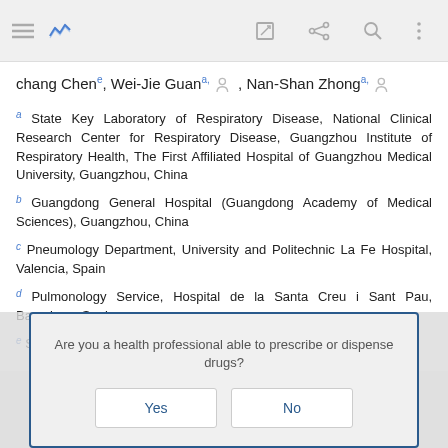Navigation bar with menu, chart icon, edit, share, search icons
chang Chenᵉ, Wei-Jie Guanᵃ, Nan-Shan Zhongᵃ
a State Key Laboratory of Respiratory Disease, National Clinical Research Center for Respiratory Disease, Guangzhou Institute of Respiratory Health, The First Affiliated Hospital of Guangzhou Medical University, Guangzhou, China
b Guangdong General Hospital (Guangdong Academy of Medical Sciences), Guangzhou, China
c Pneumology Department, University and Politechnic La Fe Hospital, Valencia, Spain
d Pulmonology Service, Hospital de la Santa Creu i Sant Pau, Barcelona, Spain
e Shenzhen People's Hospital, Shenzhen, China
Are you a health professional able to prescribe or dispense drugs?
Yes
No